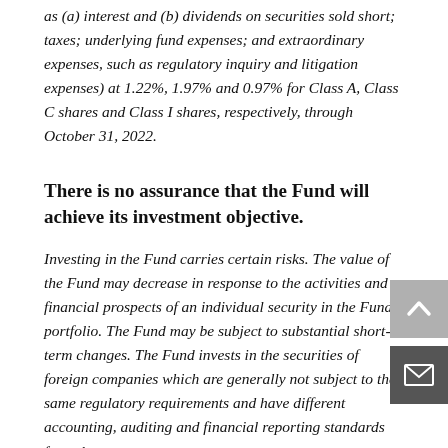as (a) interest and (b) dividends on securities sold short; taxes; underlying fund expenses; and extraordinary expenses, such as regulatory inquiry and litigation expenses) at 1.22%, 1.97% and 0.97% for Class A, Class C shares and Class I shares, respectively, through October 31, 2022.
There is no assurance that the Fund will achieve its investment objective.
Investing in the Fund carries certain risks. The value of the Fund may decrease in response to the activities and financial prospects of an individual security in the Fund's portfolio. The Fund may be subject to substantial short-term changes. The Fund invests in the securities of foreign companies which are generally not subject to the same regulatory requirements and have different accounting, auditing and financial reporting standards from those